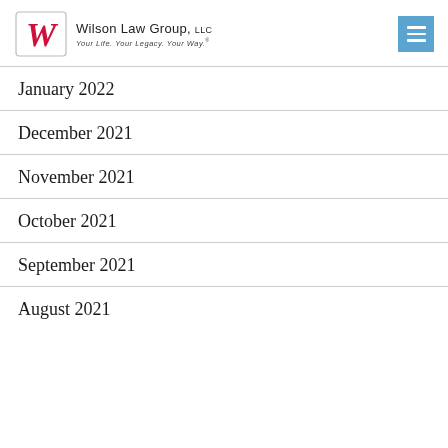Wilson Law Group, LLC — Your Life. Your Legacy. Your Way.
January 2022
December 2021
November 2021
October 2021
September 2021
August 2021